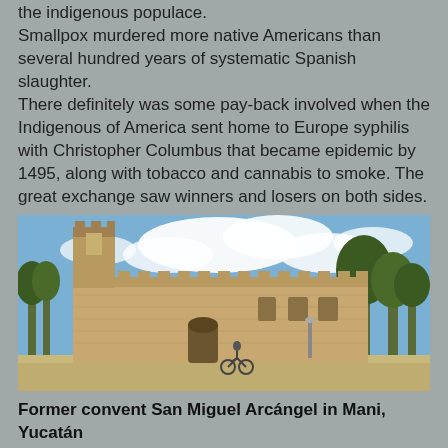the indigenous populace. Smallpox murdered more native Americans than several hundred years of systematic Spanish slaughter. There definitely was some pay-back involved when the Indigenous of America sent home to Europe syphilis with Christopher Columbus that became epidemic by 1495, along with tobacco and cannabis to smoke. The great exchange saw winners and losers on both sides.
[Figure (photo): Former convent San Miguel Arcángel in Mani, Yucatán as seen today. A large stone fortress-like convent building with battlements, a tall tower on the left side, under a blue sky with white clouds. A person on a bicycle is visible in the foreground on a dirt road.]
Former convent San Miguel Arcángel in Mani, Yucatán as seen today.
[Figure (photo): Close-up tropical or garden scene with green fern fronds, purple/pink flowers or foliage, and colorful background - partially visible at bottom of page.]